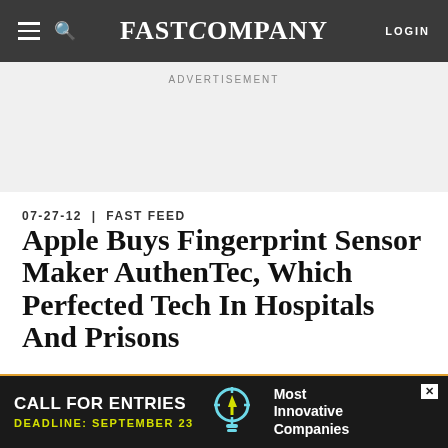FAST COMPANY
ADVERTISEMENT
07-27-12 | FAST FEED
Apple Buys Fingerprint Sensor Maker AuthenTec, Which Perfected Tech In Hospitals And Prisons
News updates all day from Fast Company.
[Figure (screenshot): Bottom advertisement banner: black background, 'CALL FOR ENTRIES' in white bold text, 'DEADLINE: SEPTEMBER 23' in yellow, lightbulb icon, 'Most Innovative Companies' in white on right side, X close button in top right corner.]